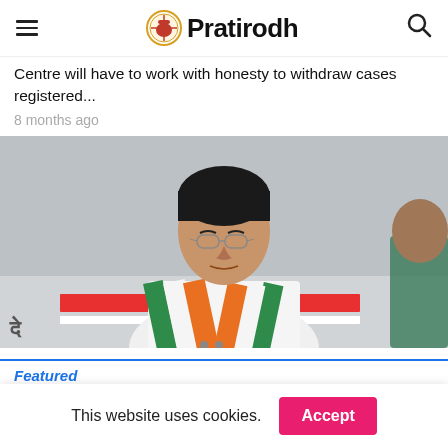Pratirodh
Centre will have to work with honesty to withdraw cases registered...
8 months ago
[Figure (photo): A man wearing glasses and an Indian tricolor sash/scarf (green-white-orange) seated at what appears to be a press conference, with a blurred background showing a red and white banner.]
Featured
This website uses cookies.